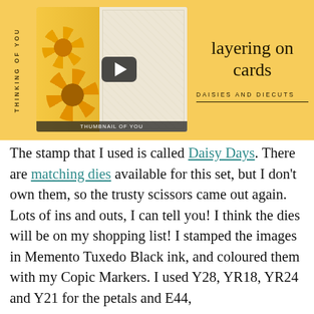[Figure (screenshot): Yellow banner with a video thumbnail showing a handmade card with sunflowers, a play button overlay, rotated text 'THINKING OF YOU' on the left, and title 'layering on cards' with 'DAISIES AND DIECUTS' on the right]
The stamp that I used is called Daisy Days. There are matching dies available for this set, but I don't own them, so the trusty scissors came out again. Lots of ins and outs, I can tell you! I think the dies will be on my shopping list! I stamped the images in Memento Tuxedo Black ink, and coloured them with my Copic Markers. I used Y28, YR18, YR24 and Y21 for the petals and E44,